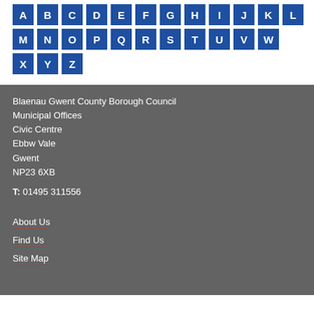[Figure (other): Alphabet navigation tiles — blue square tiles with white letters A through Z arranged in three rows]
Blaenau Gwent County Borough Council
Municipal Offices
Civic Centre
Ebbw Vale
Gwent
NP23 6XB
T: 01495 311556
About Us
Find Us
Site Map